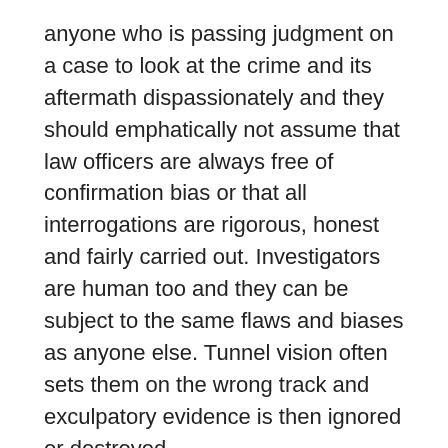anyone who is passing judgment on a case to look at the crime and its aftermath dispassionately and they should emphatically not assume that law officers are always free of confirmation bias or that all interrogations are rigorous, honest and fairly carried out. Investigators are human too and they can be subject to the same flaws and biases as anyone else. Tunnel vision often sets them on the wrong track and exculpatory evidence is then ignored or destroyed.
A retired English barrister recently studied the Kercher case and after examining court documents in considerable detail, published a twenty-six part exposition. Unfortunately, in his reading of the case, he trusted the police and prosecuting authorities to have carried out an honest investigation and he made no allowance for the effect that confirmation bias had on